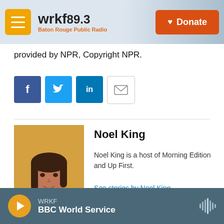wrkf89.3 Baton Rouge Public Radio | Donate
provided by NPR, Copyright NPR.
[Figure (other): Social share buttons: Facebook, Twitter, LinkedIn, Email]
[Figure (photo): Headshot photo of Noel King]
Noel King
Noel King is a host of Morning Edition and Up First.
See stories by Noel King
[Figure (photo): Partial headshot photo of Steve Jackson]
Steve Jackson
WRKF | BBC World Service